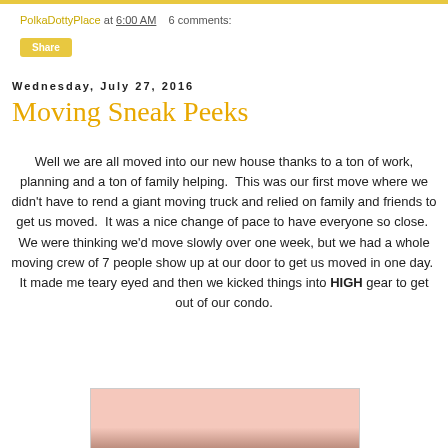PolkaDottyPlace at 6:00 AM   6 comments:
Share
Wednesday, July 27, 2016
Moving Sneak Peeks
Well we are all moved into our new house thanks to a ton of work, planning and a ton of family helping.  This was our first move where we didn't have to rend a giant moving truck and relied on family and friends to get us moved.  It was a nice change of pace to have everyone so close.  We were thinking we'd move slowly over one week, but we had a whole moving crew of 7 people show up at our door to get us moved in one day.  It made me teary eyed and then we kicked things into HIGH gear to get out of our condo.
[Figure (photo): Partial photo of a person with brown hair against a pink background]